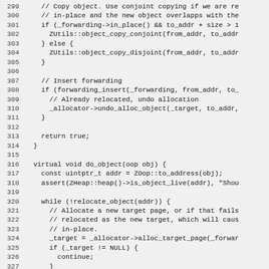[Figure (screenshot): Source code listing showing lines 299-328 of a C++ file implementing object relocation and forwarding logic, including ZUtils::object_copy_conjoint, ZUtils::object_copy_disjoint, forwarding_insert, _allocator->undo_alloc_object, virtual void do_object, ZOop::to_address, ZHeap::heap()->is_object_live, relocate_object, _allocator->alloc_target_page, and control flow with while/if/continue.]